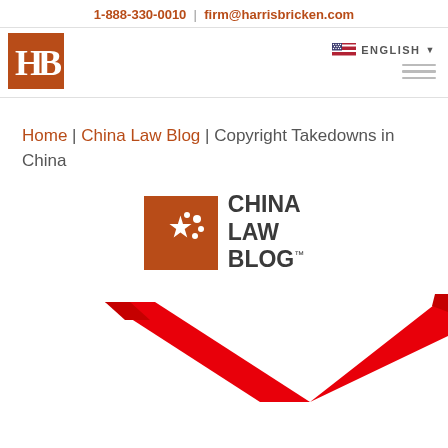1-888-330-0010 | firm@harrisbricken.com
[Figure (logo): Harris Bricken HB logo — brown square with white HB letters, and navigation elements including US flag ENGLISH dropdown and hamburger menu]
Home | China Law Blog | Copyright Takedowns in China
[Figure (logo): China Law Blog logo — brown square with white star and small stars, next to bold text reading CHINA LAW BLOG with TM mark]
[Figure (illustration): Large red checkmark/tick mark graphic, partially cropped at bottom of page]